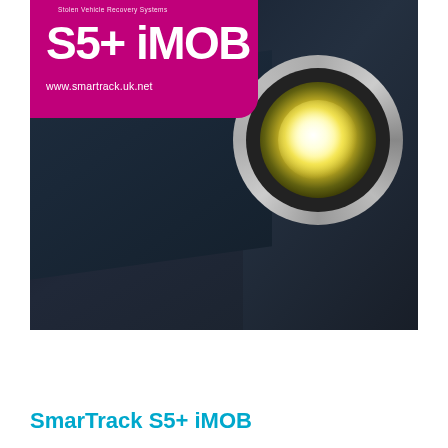[Figure (photo): Photo of a dark luxury car front with prominent round headlight, overlaid with a magenta/pink banner in the top-left corner showing the SmarTrack logo, 'S5+ iMOB' in large white text, 'Stolen Vehicle Recovery Systems' tagline, and website 'www.smartrack.uk.net']
SmarTrack S5+ iMOB